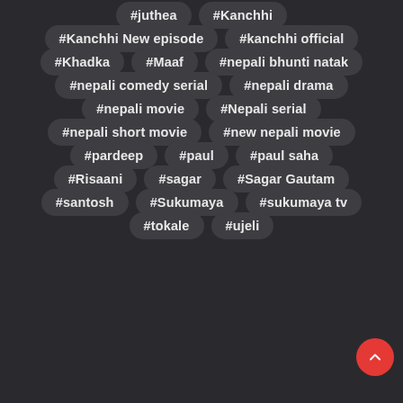#juthea
#Kanchhi
#Kanchhi New episode
#kanchhi official
#Khadka
#Maaf
#nepali bhunti natak
#nepali comedy serial
#nepali drama
#nepali movie
#Nepali serial
#nepali short movie
#new nepali movie
#pardeep
#paul
#paul saha
#Risaani
#sagar
#Sagar Gautam
#santosh
#Sukumaya
#sukumaya tv
#tokale
#ujeli